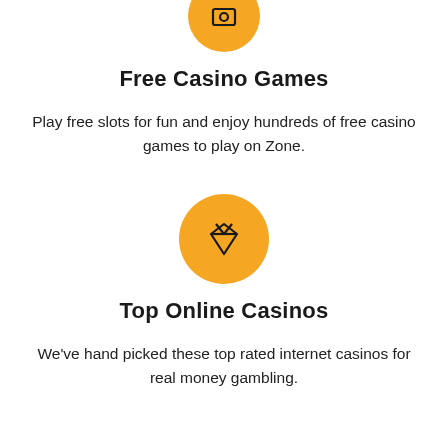[Figure (illustration): Orange circle icon partially cropped at the top of the page]
Free Casino Games
Play free slots for fun and enjoy hundreds of free casino games to play on Zone.
[Figure (illustration): Orange circle with a diamond/gem icon inside]
Top Online Casinos
We've hand picked these top rated internet casinos for real money gambling.